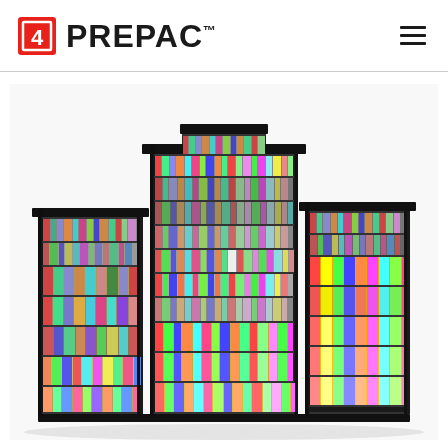PREPAC™
[Figure (photo): Large black media storage unit / shelving system filled with CDs, DVDs, and VHS tapes across multiple towers of varying heights, displayed on a white background. The unit has a stepped top profile with the center tower tallest.]